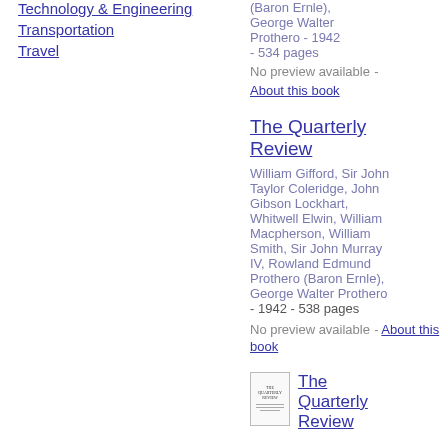Technology & Engineering
Transportation
Travel
(Baron Ernle), George Walter Prothero - 1942 - 534 pages
No preview available -
About this book
The Quarterly Review
William Gifford, Sir John Taylor Coleridge, John Gibson Lockhart, Whitwell Elwin, William Macpherson, William Smith, Sir John Murray IV, Rowland Edmund Prothero (Baron Ernle), George Walter Prothero - 1942 - 538 pages
No preview available -
About this book
[Figure (illustration): Small thumbnail image of The Quarterly Review book cover]
The Quarterly Review